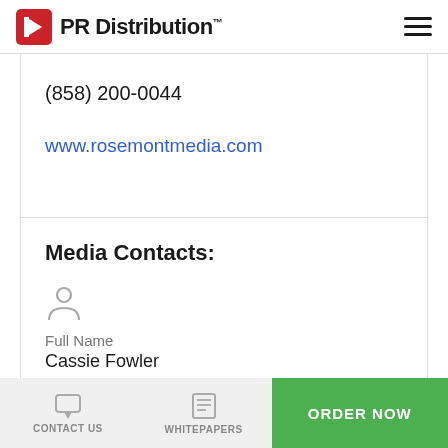PR Distribution™
(858) 200-0044
www.rosemontmedia.com
Media Contacts:
Full Name
Cassie Fowler
CONTACT US   WHITEPAPERS   ORDER NOW